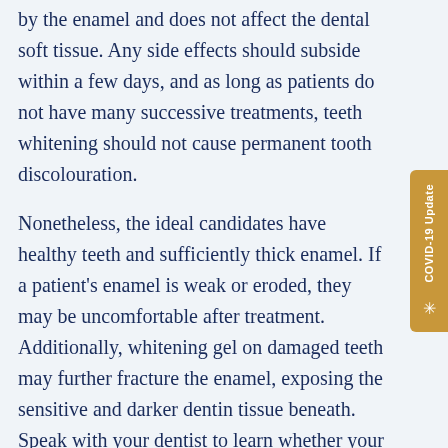by the enamel and does not affect the dental soft tissue. Any side effects should subside within a few days, and as long as patients do not have many successive treatments, teeth whitening should not cause permanent tooth discolouration.
Nonetheless, the ideal candidates have healthy teeth and sufficiently thick enamel. If a patient's enamel is weak or eroded, they may be uncomfortable after treatment. Additionally, whitening gel on damaged teeth may further fracture the enamel, exposing the sensitive and darker dentin tissue beneath. Speak with your dentist to learn whether your teeth can safely be treated through professional whitening.
How Long Does Teeth